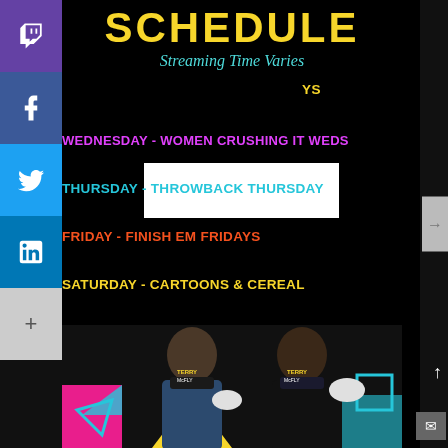SCHEDULE
Streaming Time Varies
WEDNESDAY - WOMEN CRUSHING IT WEDS
THURSDAY - THROWBACK THURSDAY
FRIDAY - FINISH EM FRIDAYS
SATURDAY - CARTOONS & CEREAL
[Figure (photo): Two men wearing Terry McFly branded caps holding game controllers, in front of colorful geometric background]